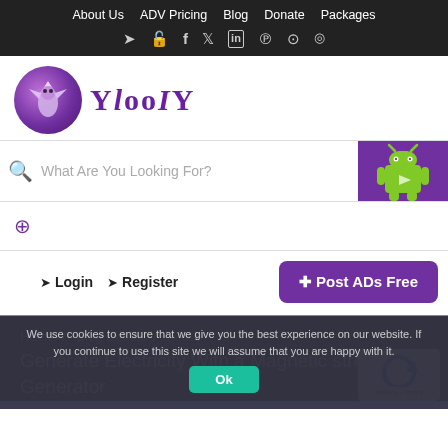About Us  ADV Pricing  Blog  Donate  Packages
[Figure (screenshot): YlooiY website header with logo, search bar, location row, login/register/post ads buttons, and cookie consent notice]
We use cookies to ensure that we give you the best experience on our website. If you continue to use this site we will assume that you are happy with it.
Home / Blog Details / Generate Electricity With a Magnetic strength Generator
Ok